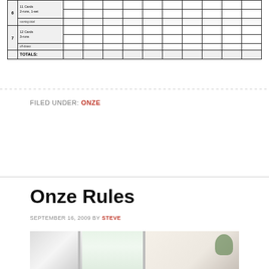[Figure (table-as-image): Partial score sheet for Onze card game, showing rounds 6 and 7 with labels '11 Cards 2-runs, 1-set', '12 Cards 3-runs', 'off-draws', and 'TOTALS:' row, with multiple empty score columns]
FILED UNDER: ONZE
Onze Rules
SEPTEMBER 16, 2009 BY STEVE
[Figure (photo): Indoor photo showing a room with sliding glass doors or windows, natural light coming through, and a plant visible on the right side]